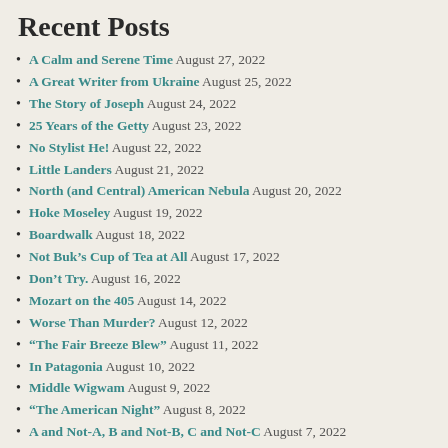Recent Posts
A Calm and Serene Time August 27, 2022
A Great Writer from Ukraine August 25, 2022
The Story of Joseph August 24, 2022
25 Years of the Getty August 23, 2022
No Stylist He! August 22, 2022
Little Landers August 21, 2022
North (and Central) American Nebula August 20, 2022
Hoke Moseley August 19, 2022
Boardwalk August 18, 2022
Not Buk’s Cup of Tea at All August 17, 2022
Don’t Try. August 16, 2022
Mozart on the 405 August 14, 2022
Worse Than Murder? August 12, 2022
“The Fair Breeze Blew” August 11, 2022
In Patagonia August 10, 2022
Middle Wigwam August 9, 2022
“The American Night” August 8, 2022
A and Not-A, B and Not-B, C and Not-C August 7, 2022
The Year of Reading Dictionaries August 6, 2022
Annapolis Royal August 5, 2022